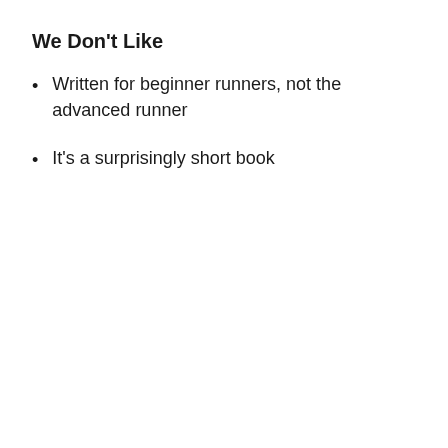We Don't Like
Written for beginner runners, not the advanced runner
It's a surprisingly short book